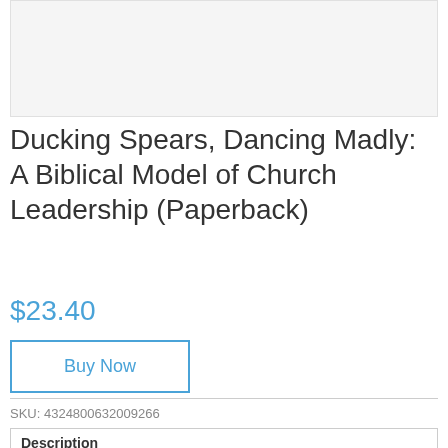[Figure (photo): Product image placeholder area (light gray box)]
Ducking Spears, Dancing Madly: A Biblical Model of Church Leadership (Paperback)
$23.40
Buy Now
SKU: 4324800632009266
Description